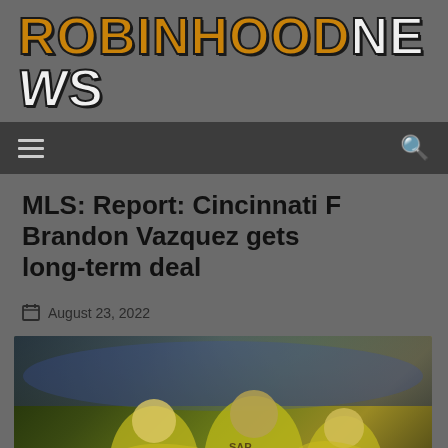ROBINHOOD NEWS
MLS: Report: Cincinnati F Brandon Vazquez gets long-term deal
August 23, 2022
[Figure (photo): Soccer players in yellow jerseys celebrating on the field, crowd visible in background]